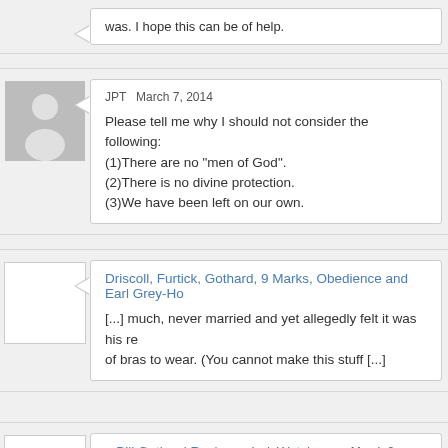was. I hope this can be of help.
JPT March 7, 2014
Please tell me why I should not consider the following:
(1)There are no "men of God".
(2)There is no divine protection.
(3)We have been left on our own.
Driscoll, Furtick, Gothard, 9 Marks, Obedience and Earl Grey-Ho
[...] much, never married and yet allegedly felt it was his re of bras to wear. (You cannot make this stuff [...]
» Bill Gothard Resigns - IndyWatchman March 8, 2014
[...] of the women who has come forth is a woman named o young homeschool teen and was sent to "work" at [...]